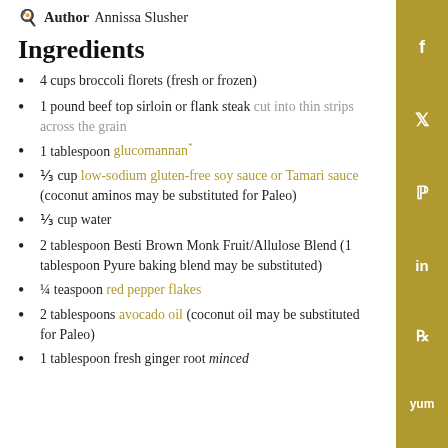Author Annissa Slusher
Ingredients
4 cups broccoli florets (fresh or frozen)
1 pound beef top sirloin or flank steak cut into thin strips across the grain
1 tablespoon glucomannan*
⅓ cup low-sodium gluten-free soy sauce or Tamari sauce (coconut aminos may be substituted for Paleo)
⅓ cup water
2 tablespoon Besti Brown Monk Fruit/Allulose Blend (1 tablespoon Pyure baking blend may be substituted)
¼ teaspoon red pepper flakes
2 tablespoons avocado oil (coconut oil may be substituted for Paleo)
1 tablespoon fresh ginger root minced